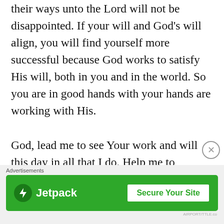their ways unto the Lord will not be disappointed. If your will and God's will align, you will find yourself more successful because God works to satisfy His will, both in you and in the world. So you are in good hands with your hands are working with His.

God, lead me to see Your work and will this day in all that I do. Help me to commit to those things that you have called me to, so that I don't get sidetracked into useless frivolity. Thank You Lord for Your kindness
Advertisements
[Figure (other): Jetpack advertisement banner with green background, Jetpack logo on the left and 'Secure Your Site' button on the right]